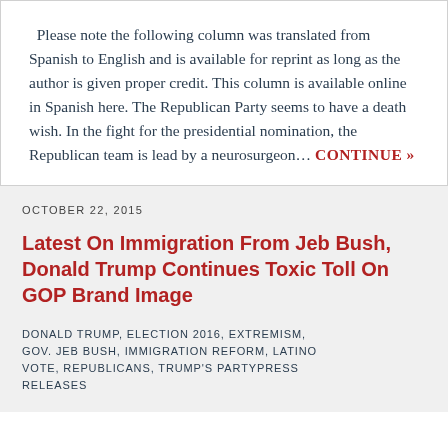Please note the following column was translated from Spanish to English and is available for reprint as long as the author is given proper credit. This column is available online in Spanish here. The Republican Party seems to have a death wish. In the fight for the presidential nomination, the Republican team is lead by a neurosurgeon… CONTINUE »
OCTOBER 22, 2015
Latest On Immigration From Jeb Bush, Donald Trump Continues Toxic Toll On GOP Brand Image
DONALD TRUMP, ELECTION 2016, EXTREMISM, GOV. JEB BUSH, IMMIGRATION REFORM, LATINO VOTE, REPUBLICANS, TRUMP'S PARTYPRESS RELEASES